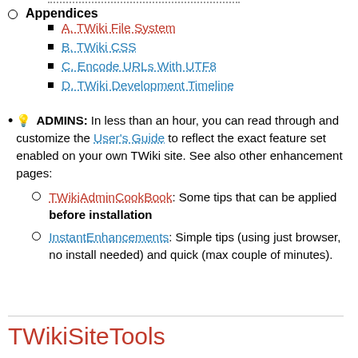Appendices
A. TWiki File System
B. TWiki CSS
C. Encode URLs With UTF8
D. TWiki Development Timeline
💡 ADMINS: In less than an hour, you can read through and customize the User's Guide to reflect the exact feature set enabled on your own TWiki site. See also other enhancement pages:
TWikiAdminCookBook: Some tips that can be applied before installation
InstantEnhancements: Simple tips (using just browser, no install needed) and quick (max couple of minutes).
TWikiSiteTools